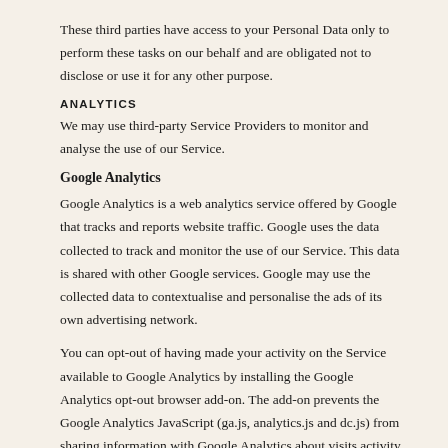These third parties have access to your Personal Data only to perform these tasks on our behalf and are obligated not to disclose or use it for any other purpose.
ANALYTICS
We may use third-party Service Providers to monitor and analyse the use of our Service.
Google Analytics
Google Analytics is a web analytics service offered by Google that tracks and reports website traffic. Google uses the data collected to track and monitor the use of our Service. This data is shared with other Google services. Google may use the collected data to contextualise and personalise the ads of its own advertising network.
You can opt-out of having made your activity on the Service available to Google Analytics by installing the Google Analytics opt-out browser add-on. The add-on prevents the Google Analytics JavaScript (ga.js, analytics.js and dc.js) from sharing information with Google Analytics about visits activity.